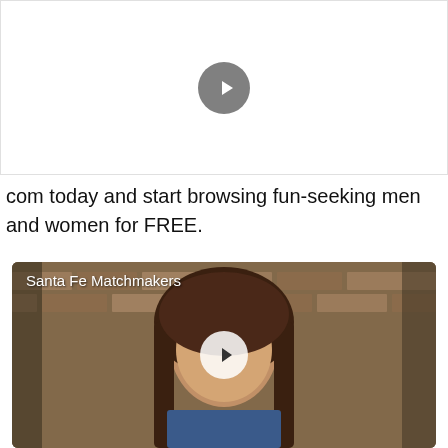[Figure (screenshot): Video placeholder with dark gray play button on white background]
com today and start browsing fun-seeking men and women for FREE.
[Figure (screenshot): Video thumbnail showing a young woman with long brown hair in front of a brick wall, with white play button overlay and 'Santa Fe Matchmakers' label in top left]